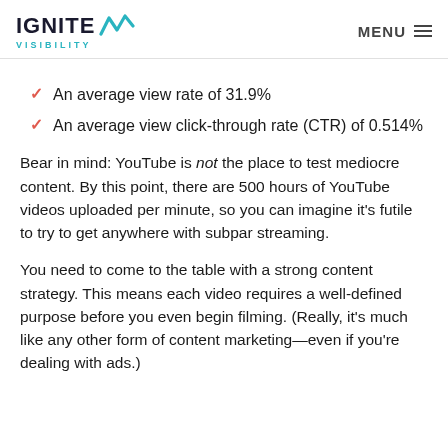IGNITE VISIBILITY | MENU
An average view rate of 31.9%
An average view click-through rate (CTR) of 0.514%
Bear in mind: YouTube is not the place to test mediocre content. By this point, there are 500 hours of YouTube videos uploaded per minute, so you can imagine it’s futile to try to get anywhere with subpar streaming.
You need to come to the table with a strong content strategy. This means each video requires a well-defined purpose before you even begin filming. (Really, it’s much like any other form of content marketing—even if you’re dealing with ads.)